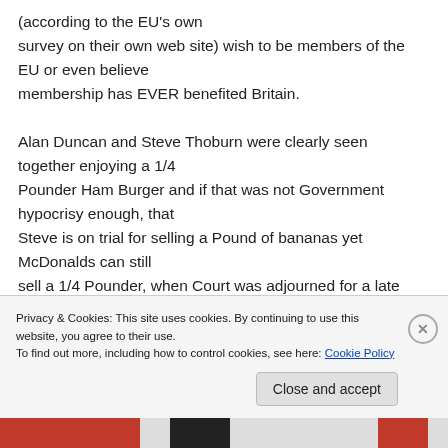(according to the EU's own survey on their own web site) wish to be members of the EU or even believe membership has EVER benefited Britain.

Alan Duncan and Steve Thoburn were clearly seen together enjoying a 1/4 Pounder Ham Burger and if that was not Government hypocrisy enough, that Steve is on trial for selling a Pound of bananas yet McDonalds can still sell a 1/4 Pounder, when Court was adjourned for a late lunch the defence and friends visited a licensed Pizzeria across the road from
Privacy & Cookies: This site uses cookies. By continuing to use this website, you agree to their use.
To find out more, including how to control cookies, see here: Cookie Policy
Close and accept